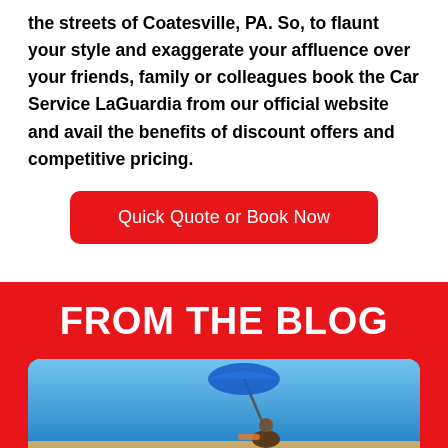the streets of Coatesville, PA. So, to flaunt your style and exaggerate your affluence over your friends, family or colleagues book the Car Service LaGuardia from our official website and avail the benefits of discount offers and competitive pricing.
[Figure (other): Red button labeled 'Quick Quote or Book Now']
FROM THE BLOG
[Figure (photo): Beach scene photo with blue sky, a person sitting under a large blue umbrella on sand, partially visible at bottom of page]